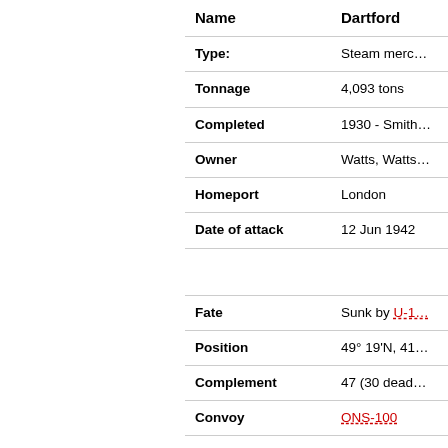| Field | Value |
| --- | --- |
| Name | Dartford |
| Type: | Steam merc... |
| Tonnage | 4,093 tons |
| Completed | 1930 - Smith... |
| Owner | Watts, Watts... |
| Homeport | London |
| Date of attack | 12 Jun 1942 |
|  |  |
| Fate | Sunk by U-1... |
| Position | 49° 19'N, 41... |
| Complement | 47 (30 dead... |
| Convoy | ONS-100 |
| Route | Tyne - Oban... |
| Cargo | Ballast |
| History | Completed i... |
| Notes on event | At 06.12 ho... 100 was ton... members a... |